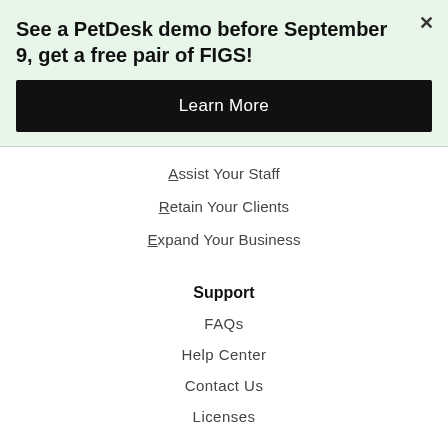See a PetDesk demo before September 9, get a free pair of FIGS!
Learn More
Assist Your Staff
Retain Your Clients
Expand Your Business
Support
FAQs
Help Center
Contact Us
Licenses